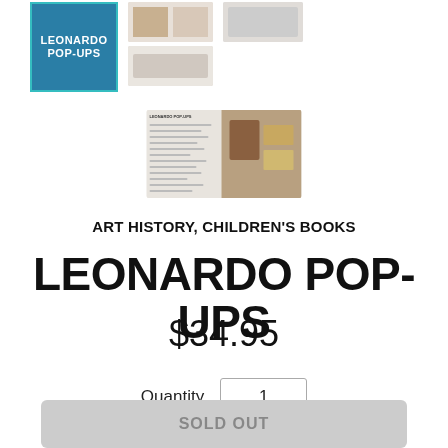[Figure (screenshot): Product thumbnails: main book cover 'Leonardo Pop-Ups' with teal border, two smaller thumbnails to the right, and one interior spread thumbnail below]
ART HISTORY, CHILDREN'S BOOKS
LEONARDO POP-UPS
$34.95
Quantity  1
SOLD OUT